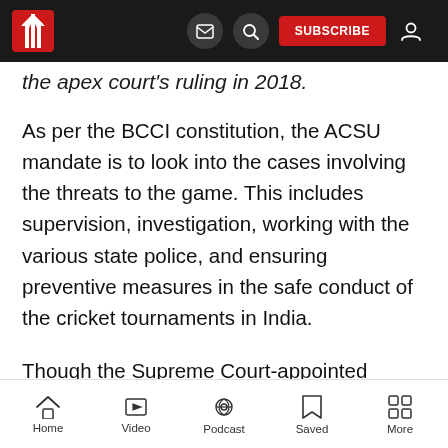Navigation bar with logo, mail icon, search icon, SUBSCRIBE button, and user icon
the apex court's ruling in 2018.
As per the BCCI constitution, the ACSU mandate is to look into the cases involving the threats to the game. This includes supervision, investigation, working with the various state police, and ensuring preventive measures in the safe conduct of the cricket tournaments in India.
Though the Supreme Court-appointed Justice Lodha panel recommended that “betting should be legalised in India”, the BCCI’s ACSU chief has
Home  Video  Podcast  Saved  More